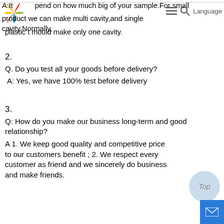A:It depend on how much big of your sample.For small product we can make multi cavity,and single cavity.Normally, plastic t mould make only one cavity.
2.
Q. Do you test all your goods before delivery?
A: Yes, we have 100% test before delivery
3.
Q: How do you make our business long-term and good relationship?
A 1. We keep good quality and competitive price to our customers benefit ; 2. We respect every customer as friend and we sincerely do business and make friends.